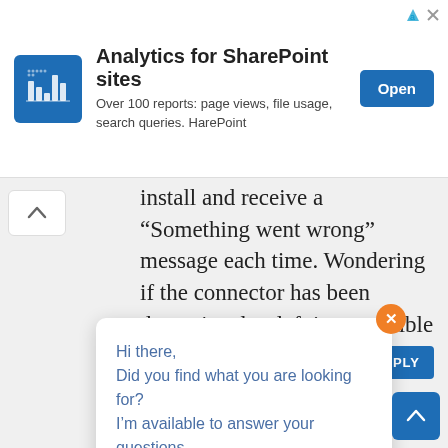[Figure (screenshot): Advertisement banner for HarePoint Analytics for SharePoint sites with logo, tagline, and Open button]
install and receive a “Something went wrong” message each time. Wondering if the connector has been depreciated or left incompatible with new Teams updates.
Hi there,
Did you find what you are looking for?
I’m available to answer your questions.
Pieter Veenstra says:
November 7, 2018 at 8:40 am
Hi Dan